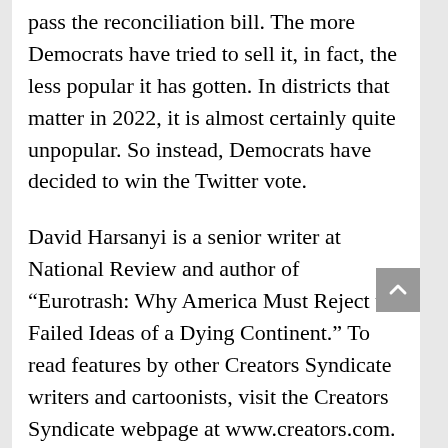pass the reconciliation bill. The more Democrats have tried to sell it, in fact, the less popular it has gotten. In districts that matter in 2022, it is almost certainly quite unpopular. So instead, Democrats have decided to win the Twitter vote.
David Harsanyi is a senior writer at National Review and author of “Eurotrash: Why America Must Reject the Failed Ideas of a Dying Continent.” To read features by other Creators Syndicate writers and cartoonists, visit the Creators Syndicate webpage at www.creators.com.
[Figure (illustration): Five dark red/crimson star icons in a row]